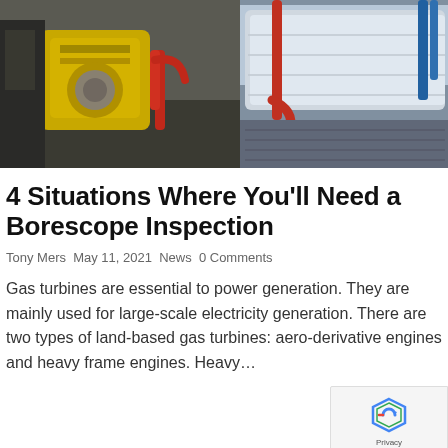[Figure (photo): Industrial gas turbine machinery — yellow turbine/generator unit on the left side and large white industrial equipment on the right side, in a factory/plant setting]
4 Situations Where You'll Need a Borescope Inspection
Tony Mers  May 11, 2021  News  0 Comments
Gas turbines are essential to power generation. They are mainly used for large-scale electricity generation. There are two types of land-based gas turbines: aero-derivative engines and heavy frame engines. Heavy…